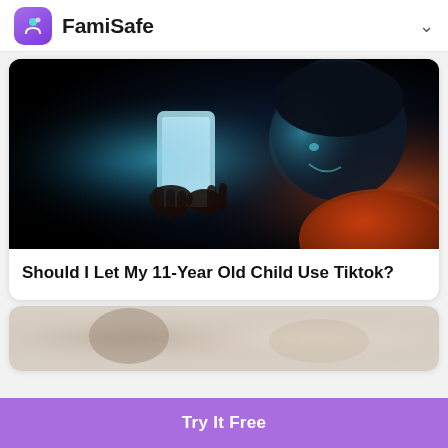FamiSafe
[Figure (photo): Child holding a glowing smartphone in a dark room, illuminated by blue light, smiling]
Should I Let My 11-Year Old Child Use Tiktok?
[Figure (photo): Blurred background image, partial view of second article card]
Try It Free